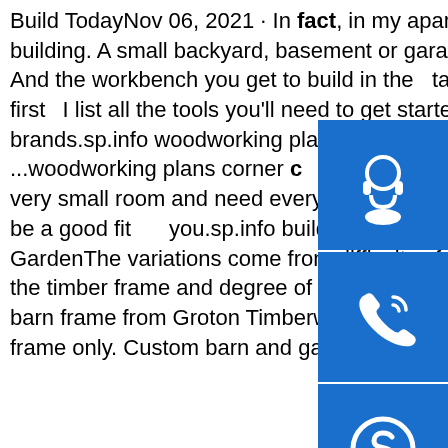Build TodayNov 06, 2021 · In fact, in my apartment, I built furniture on the rooftop of my building. A small backyard, basement or garage will do for all the projects in the program. And the workbench you get to build in the takes up less space than a lawnmower.|In the first I list all the tools you'll need to get started, as well as my recommended brands.sp.info woodworking plans china cabinet knobs ...woodworking plans corner cabinet knobs ⊖Jared Woodworking. So if you have a very small room and need every ounce of space you get, then these bunk bed plans might be a good fit you.sp.info build your own outdoor furniture plans list □ Gondor GardenThe variations come from difficulty of design, architectural design, complexity of the timber frame and degree of finish of the final project. A pre-designed shed, garage or barn frame from Groton Timberworks can be constructed for $18-$25 per square foot, frame only. Custom barn and garage prices for a custom frame are typically $22-$28 per...
[Figure (illustration): Blue square button with white headset/customer support icon]
[Figure (illustration): Blue square button with white phone/call icon]
[Figure (illustration): Blue square button with white Skype logo icon]